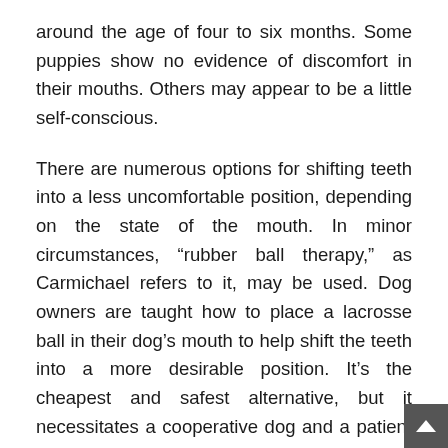around the age of four to six months. Some puppies show no evidence of discomfort in their mouths. Others may appear to be a little self-conscious.
There are numerous options for shifting teeth into a less uncomfortable position, depending on the state of the mouth. In minor circumstances, “rubber ball therapy,” as Carmichael refers to it, may be used. Dog owners are taught how to place a lacrosse ball in their dog’s mouth to help shift the teeth into a more desirable position. It’s the cheapest and safest alternative, but it necessitates a cooperative dog and a patient owner.
Extracting or filing down the problematic teeth are two further therapy possibilities. These quick treatments are frequently less expensive than braces,